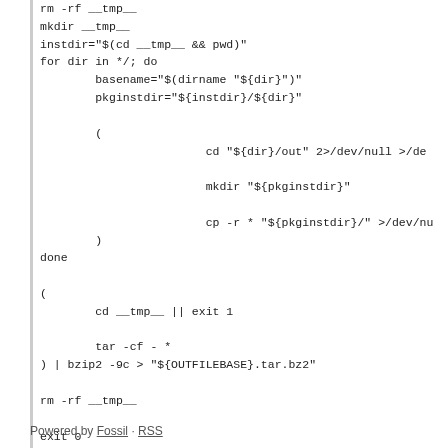rm -rf __tmp__
mkdir __tmp__
instdir="$(cd __tmp__ && pwd)"
for dir in */; do
        basename="$(dirname "${dir}")"
        pkginstdir="${instdir}/${dir}"

        (
                        cd "${dir}/out" 2>/dev/null >/dev/

                        mkdir "${pkginstdir}"

                        cp -r * "${pkginstdir}/" >/dev/nu
        )
done

(
        cd __tmp__ || exit 1

        tar -cf - *
) | bzip2 -9c > "${OUTFILEBASE}.tar.bz2"

rm -rf __tmp__

exit 0
Powered by Fossil · RSS